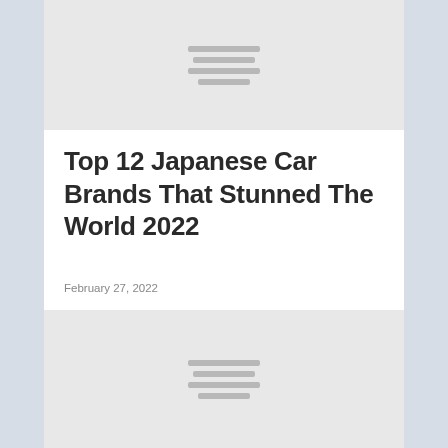[Figure (photo): Placeholder image block at top of page with horizontal loading lines]
Top 12 Japanese Car Brands That Stunned The World 2022
February 27, 2022
[Figure (photo): Placeholder image block at bottom of page with horizontal loading lines]